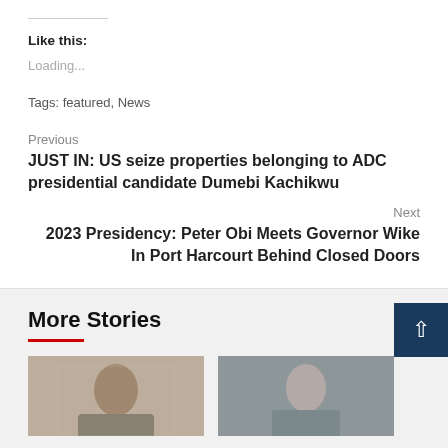Like this:
Loading...
Tags: featured, News
Previous
JUST IN: US seize properties belonging to ADC presidential candidate Dumebi Kachikwu
Next
2023 Presidency: Peter Obi Meets Governor Wike In Port Harcourt Behind Closed Doors
More Stories
[Figure (photo): Thumbnail image of a woman in formal attire with decorative background]
[Figure (photo): Thumbnail image of a man in a suit]